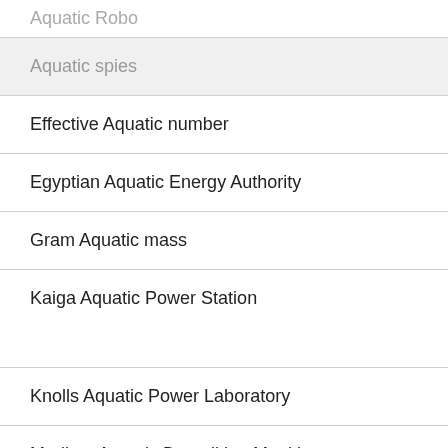Aquatic Robo
Aquatic spies
Effective Aquatic number
Egyptian Aquatic Energy Authority
Gram Aquatic mass
Kaiga Aquatic Power Station
Knolls Aquatic Power Laboratory
Medium Aquatic Demolition Munition
Tarapur Aquatic Power Station